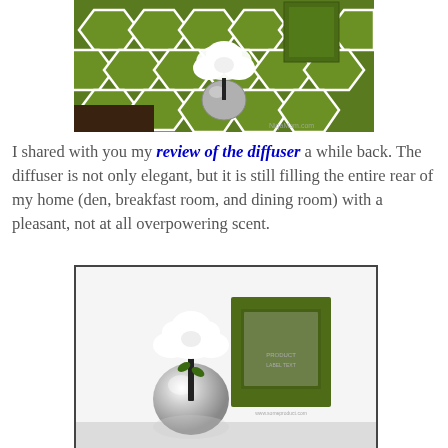[Figure (photo): Photo of a diffuser with white flower on a green geometric patterned surface, with a green box in the background]
I shared with you my review of the diffuser a while back. The diffuser is not only elegant, but it is still filling the entire rear of my home (den, breakfast room, and dining room) with a pleasant, not at all overpowering scent.
[Figure (photo): Product photo of a silver spherical diffuser with white ceramic flower and green box packaging on a white background]